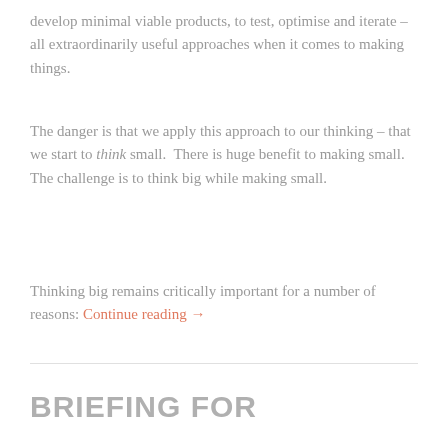develop minimal viable products, to test, optimise and iterate – all extraordinarily useful approaches when it comes to making things.
The danger is that we apply this approach to our thinking – that we start to think small.  There is huge benefit to making small. The challenge is to think big while making small.
Thinking big remains critically important for a number of reasons: Continue reading →
BRIEFING FOR